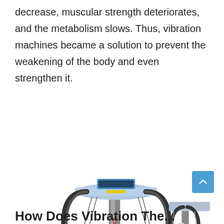decrease, muscular strength deteriorates, and the metabolism slows. Thus, vibration machines became a solution to prevent the weakening of the body and even strengthen it.
[Figure (photo): Two vibration machines shown side by side. On the left, a standalone Confidence brand whole-body vibration platform machine with handlebars and resistance bands. On the right, a person (woman) performing a bridge exercise with feet on a vibration plate machine.]
How Does Vibration The...